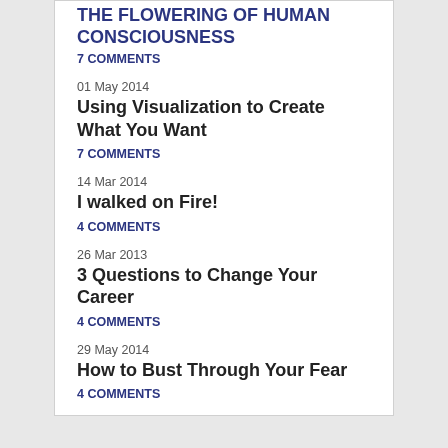THE FLOWERING OF HUMAN CONSCIOUSNESS
7 COMMENTS
01 May 2014
Using Visualization to Create What You Want
7 COMMENTS
14 Mar 2014
I walked on Fire!
4 COMMENTS
26 Mar 2013
3 Questions to Change Your Career
4 COMMENTS
29 May 2014
How to Bust Through Your Fear
4 COMMENTS